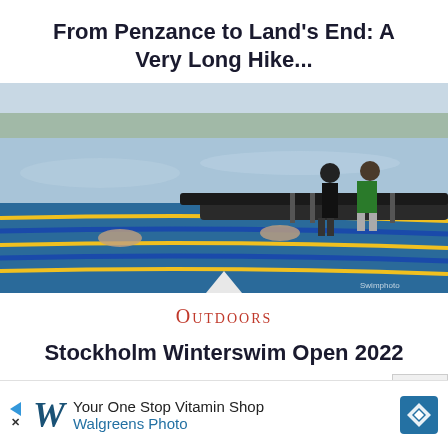From Penzance to Land's End: A Very Long Hike...
[Figure (photo): Outdoor winter swimming event on a frozen lake with lane markers in blue and yellow. Two officials stand on a floating dock while swimmers are in the cold open water. Trees and a grey sky visible in background. A watermark reads 'Swimphoto'.]
Outdoors
Stockholm Winterswim Open 2022
[Figure (infographic): Advertisement banner: Walgreens Photo - Your One Stop Vitamin Shop. Shows Walgreens cursive W logo with blue arrow, text and a blue diamond navigation icon.]